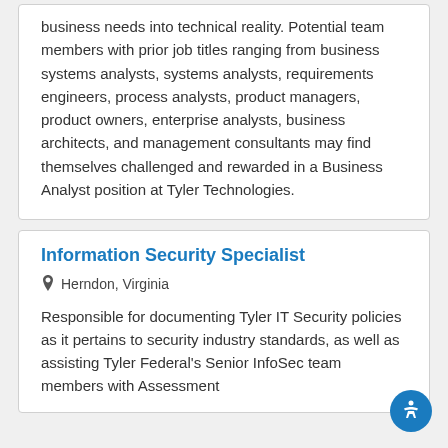business needs into technical reality. Potential team members with prior job titles ranging from business systems analysts, systems analysts, requirements engineers, process analysts, product managers, product owners, enterprise analysts, business architects, and management consultants may find themselves challenged and rewarded in a Business Analyst position at Tyler Technologies.
Information Security Specialist
Herndon, Virginia
Responsible for documenting Tyler IT Security policies as it pertains to security industry standards, as well as assisting Tyler Federal's Senior InfoSec team members with Assessment